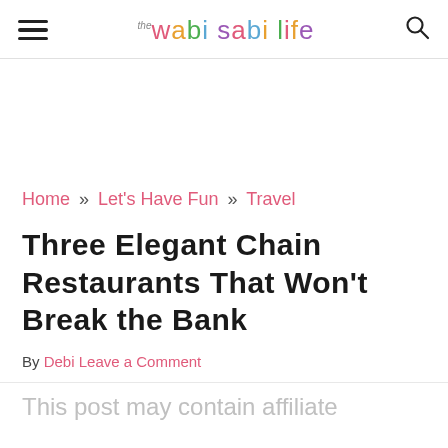the wabi sabi life
Home » Let's Have Fun » Travel
Three Elegant Chain Restaurants That Won't Break the Bank
By Debi Leave a Comment
This post may contain affiliate